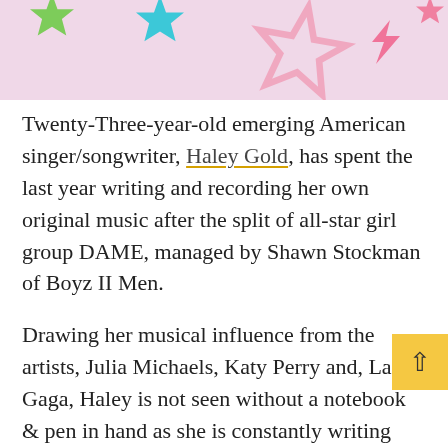[Figure (illustration): Pink banner background with colorful star shapes: green star top-left, teal/blue star top-center-left, light pink large star outline center-right, pink lightning bolt top-right, pink small star far right.]
Twenty-Three-year-old emerging American singer/songwriter, Haley Gold, has spent the last year writing and recording her own original music after the split of all-star girl group DAME, managed by Shawn Stockman of Boyz II Men.
Drawing her musical influence from the artists, Julia Michaels, Katy Perry and, Lady Gaga, Haley is not seen without a notebook & pen in hand as she is constantly writing and flowing with ideas.  Haley is not just a bra but a girl from New York sharing her personal stories through her guitar & lyric-